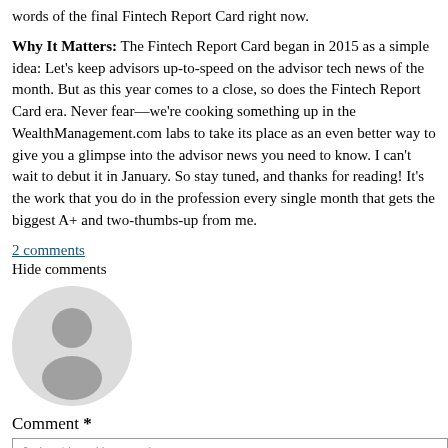words of the final Fintech Report Card right now.
Why It Matters: The Fintech Report Card began in 2015 as a simple idea: Let’s keep advisors up-to-speed on the advisor tech news of the month. But as this year comes to a close, so does the Fintech Report Card era. Never fear—we’re cooking something up in the WealthManagement.com labs to take its place as an even better way to give you a glimpse into the advisor news you need to know. I can't wait to debut it in January. So stay tuned, and thanks for reading! It's the work that you do in the profession every single month that gets the biggest A+ and two-thumbs-up from me.
2 comments
Hide comments
[Figure (illustration): Default user avatar - circular grey silhouette of a person on a light grey background]
Comment *
Join the discussion...